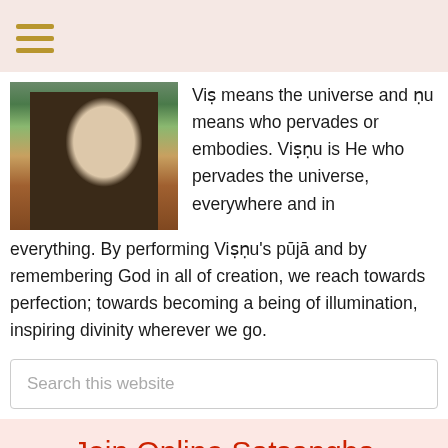≡ (hamburger menu)
[Figure (photo): Photo of a Hindu deity statue (Vishnu) with ornate decorations, flowers, and jewelry]
Viṣ means the universe and ṇu means who pervades or embodies. Viṣṇu is He who pervades the universe, everywhere and in everything. By performing Viṣṇu's pūjā and by remembering God in all of creation, we reach towards perfection; towards becoming a being of illumination, inspiring divinity wherever we go.
Search this website
Join Online Satsangha
[Figure (photo): Green nature/landscape image at bottom of page]